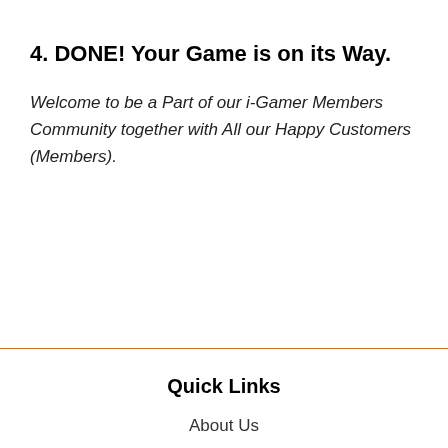4. DONE! Your Game is on its Way.
Welcome to be a Part of our i-Gamer Members Community together with All our Happy Customers (Members).
Quick Links
About Us